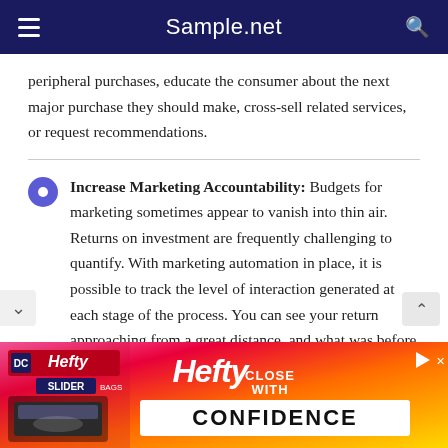Sample.net
peripheral purchases, educate the consumer about the next major purchase they should make, cross-sell related services, or request recommendations.
Increase Marketing Accountability: Budgets for marketing sometimes appear to vanish into thin air. Returns on investment are frequently challenging to quantify. With marketing automation in place, it is possible to track the level of interaction generated at each stage of the process. You can see your return approaching from a great distance, and what was before tricky to quantify becomes regular. Measuring the influence of each marketing piece over time enables you to determine what works and what does
[Figure (other): Hefty Slider Bags advertisement banner with orange/yellow/pink gradient background]